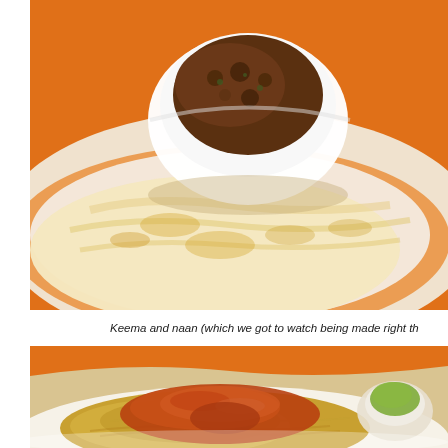[Figure (photo): Top-down close-up photo of keema (spiced minced meat) in a white bowl with naan flatbread on an orange background/tablecloth. The naan is visible on a plate around the bowl.]
Keema and naan (which we got to watch being made right th
[Figure (photo): Close-up photo of biryani rice dish with curry sauce on top, served on a white plate with a small bowl of green chutney on the side, on an orange and beige background.]